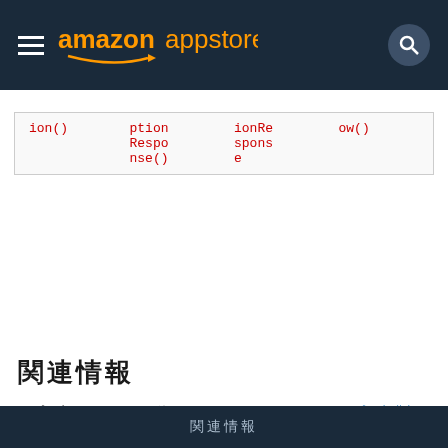amazon appstore
| ion() | ption
Respo
nse() | ionRe
spons
e | ow() |
関連情報
アプリ内でApp Testerを使用するには、Appstore SDKのアプリ内購入(IAP)を実装してから、App Testerをインストールします。
アプリのテストについての詳細は、ライブアプリのテストを参照してください。このツールはBetaです。
関連情報